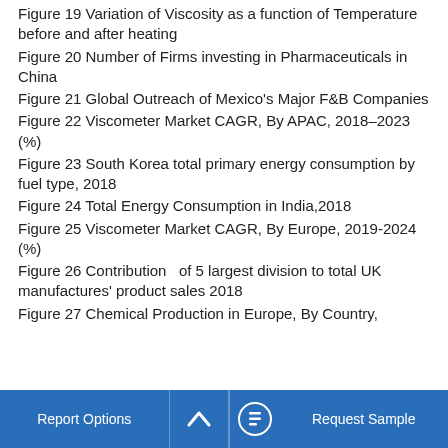Figure 19 Variation of Viscosity as a function of Temperature before and after heating
Figure 20 Number of Firms investing in Pharmaceuticals in China
Figure 21 Global Outreach of Mexico's Major F&B Companies
Figure 22 Viscometer Market CAGR, By APAC, 2018–2023 (%)
Figure 23 South Korea total primary energy consumption by fuel type, 2018
Figure 24 Total Energy Consumption in India,2018
Figure 25 Viscometer Market CAGR, By Europe, 2019-2024 (%)
Figure 26 Contribution  of 5 largest division to total UK manufactures' product sales 2018
Figure 27 Chemical Production in Europe, By Country,
Report Options    ^    Request Sample